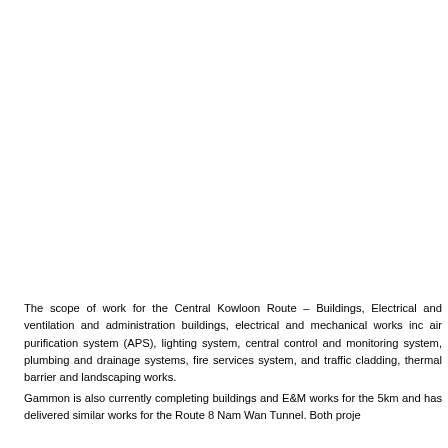The scope of work for the Central Kowloon Route – Buildings, Electrical and ventilation and administration buildings, electrical and mechanical works inc air purification system (APS), lighting system, central control and monitoring system, plumbing and drainage systems, fire services system, and traffic cladding, thermal barrier and landscaping works.
Gammon is also currently completing buildings and E&M works for the 5km and has delivered similar works for the Route 8 Nam Wan Tunnel. Both proje